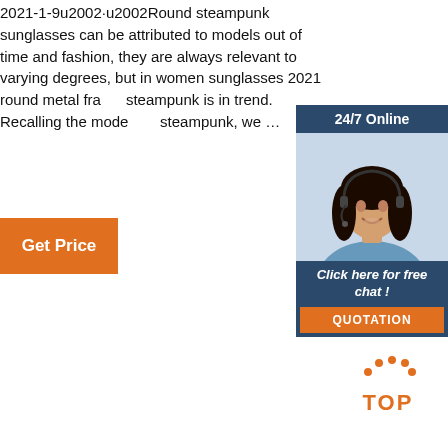2021-1-9u2002·u2002Round steampunk sunglasses can be attributed to models out of time and fashion, they are always relevant to varying degrees, but in women sunglasses 2021 round metal frame steampunk is in trend. Recalling the models of steampunk, we …
[Figure (photo): Customer service widget with 24/7 Online label, photo of woman with headset smiling, Click here for free chat! text, and QUOTATION orange button]
Get Price
[Figure (logo): TOP logo with orange dots arranged in arc above orange TOP text]